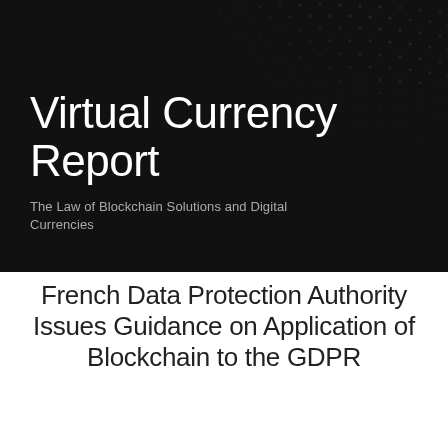[Figure (illustration): Dark banner with dot/network pattern background in dark grey/black tones]
Virtual Currency Report
The Law of Blockchain Solutions and Digital Currencies
French Data Protection Authority Issues Guidance on Application of Blockchain to the GDPR